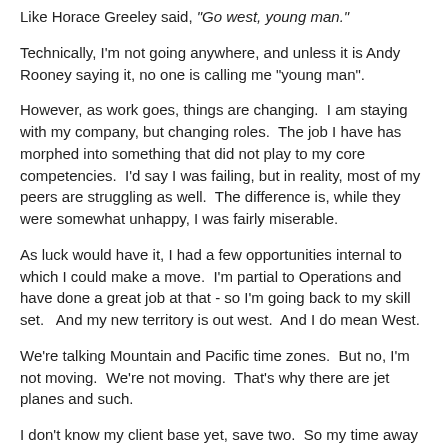Like Horace Greeley said, "Go west, young man."
Technically, I'm not going anywhere, and unless it is Andy Rooney saying it, no one is calling me "young man".
However, as work goes, things are changing.  I am staying with my company, but changing roles.  The job I have has morphed into something that did not play to my core competencies.  I'd say I was failing, but in reality, most of my peers are struggling as well.  The difference is, while they were somewhat unhappy, I was fairly miserable.
As luck would have it, I had a few opportunities internal to which I could make a move.  I'm partial to Operations and have done a great job at that - so I'm going back to my skill set.   And my new territory is out west.  And I do mean West.
We're talking Mountain and Pacific time zones.  But no, I'm not moving.  We're not moving.  That's why there are jet planes and such.
I don't know my client base yet, save two.  So my time away